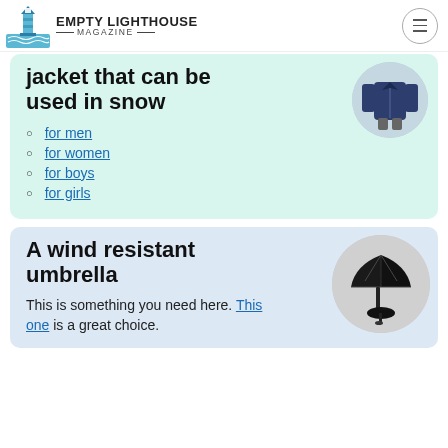Empty Lighthouse Magazine
jacket that can be used in snow
for men
for women
for boys
for girls
[Figure (photo): Man wearing a navy blue jacket]
A wind resistant umbrella
This is something you need here. This one is a great choice.
[Figure (photo): Black wind resistant folding umbrella, open and closed]